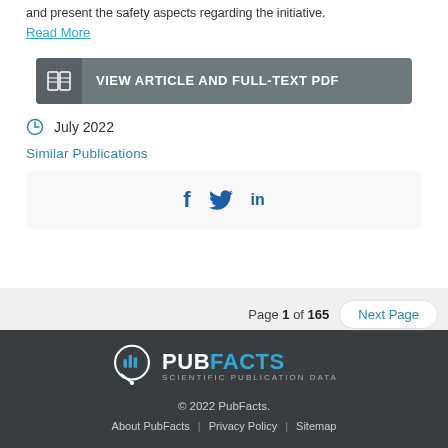and present the safety aspects regarding the initiative.
Read More
[Figure (other): VIEW ARTICLE AND FULL-TEXT PDF button with book icon]
July 2022
Similar Publications
[Figure (other): Social share icons: Facebook, Twitter, LinkedIn]
Page 1 of 165  Next Page
[Figure (logo): PubFacts Scientific Publication Data logo]
© 2022 PubFacts.
About PubFacts | Privacy Policy | Sitemap